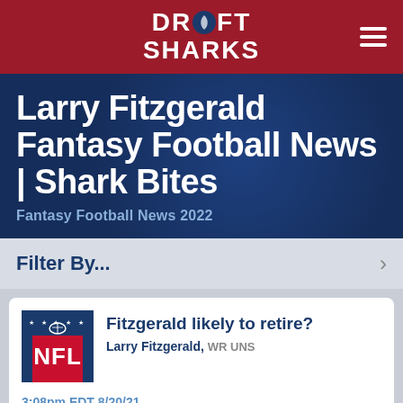DRAFT SHARKS
Larry Fitzgerald Fantasy Football News | Shark Bites
Fantasy Football News 2022
Filter By...
Fitzgerald likely to retire?
Larry Fitzgerald, WR UNS
3:08pm EDT 8/20/21
On Friday, WR Larry Fitzgerald spoke about his NFL future on SiriusXM Mad Dog Sports Radio. "I just don't have the urge to